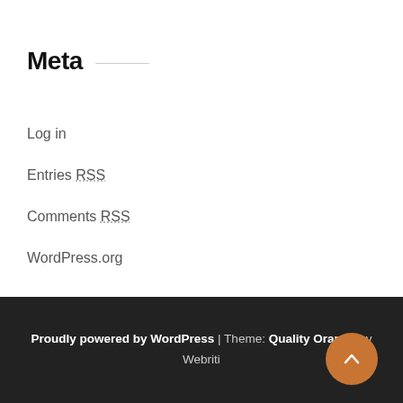Meta
Log in
Entries RSS
Comments RSS
WordPress.org
Proudly powered by WordPress | Theme: Quality Orange by Webriti